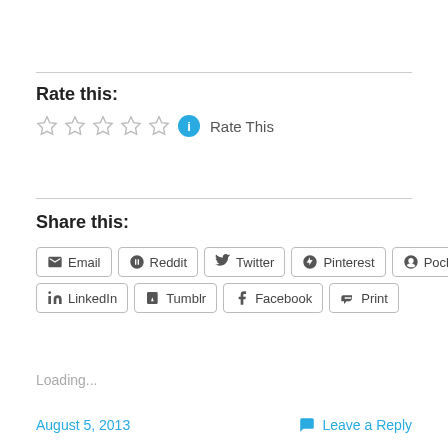Rate this:
[Figure (other): Five empty star rating icons followed by a blue info circle and 'Rate This' text]
Share this:
Email | Reddit | Twitter | Pinterest | Pocket | LinkedIn | Tumblr | Facebook | Print
Loading...
August 5, 2013
Leave a Reply